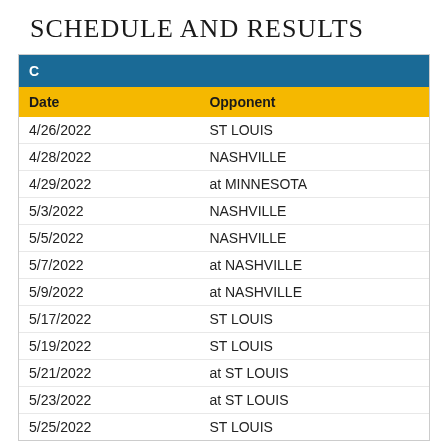SCHEDULE AND RESULTS
| Date | Opponent |
| --- | --- |
| 4/26/2022 | ST LOUIS |
| 4/28/2022 | NASHVILLE |
| 4/29/2022 | at MINNESOTA |
| 5/3/2022 | NASHVILLE |
| 5/5/2022 | NASHVILLE |
| 5/7/2022 | at NASHVILLE |
| 5/9/2022 | at NASHVILLE |
| 5/17/2022 | ST LOUIS |
| 5/19/2022 | ST LOUIS |
| 5/21/2022 | at ST LOUIS |
| 5/23/2022 | at ST LOUIS |
| 5/25/2022 | ST LOUIS |
| Date | Opponent |
| --- | --- |
| 4/26/2022 | at COLORADO |
| 4/29/2022 | VEGAS |